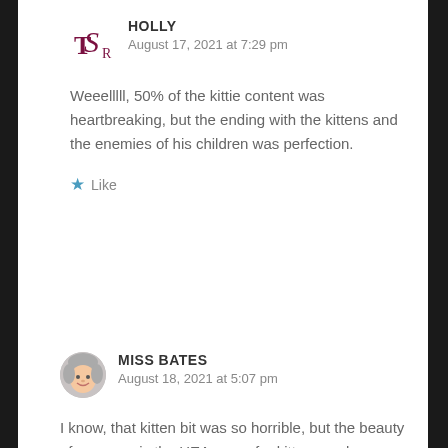HOLLY
August 17, 2021 at 7:29 pm
Weeelllll, 50% of the kittie content was heartbreaking, but the ending with the kittens and the enemies of his children was perfection.
Like
MISS BATES
August 18, 2021 at 5:07 pm
I know, that kitten bit was so horrible, but the beauty of romance is the HEA, even for kittens and seemingly incorrigible